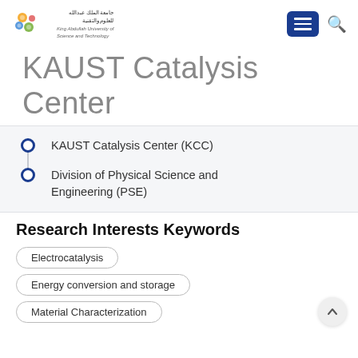KAUST - King Abdullah University of Science and Technology
KAUST Catalysis Center
KAUST Catalysis Center (KCC)
Division of Physical Science and Engineering (PSE)
Research Interests Keywords
Electrocatalysis
Energy conversion and storage
Material Characterization